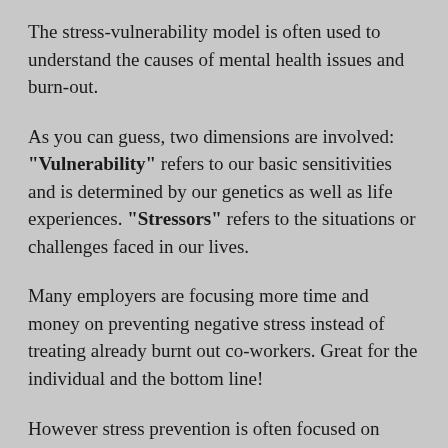The stress-vulnerability model is often used to understand the causes of mental health issues and burn-out.
As you can guess, two dimensions are involved: “Vulnerability” refers to our basic sensitivities and is determined by our genetics as well as life experiences. “Stressors” refers to the situations or challenges faced in our lives.
Many employers are focusing more time and money on preventing negative stress instead of treating already burnt out co-workers. Great for the individual and the bottom line!
However stress prevention is often focused on